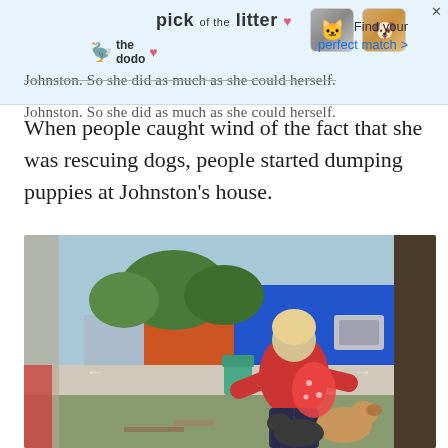[Figure (other): Advertisement banner from 'The Dodo' for 'pick of the litter' with pet photos and text 'Find your perfect match >']
Johnston. So she did as much as she could herself.
When people caught wind of the fact that she was rescuing dogs, people started dumping puppies at Johnston's house.
[Figure (photo): Outdoor photo viewed from inside a doorway showing a blonde woman in a red shirt and dark pants standing in a backyard/yard area with dogs around her. Behind her is a concrete wall, colorful buildings (blue and orange), trees, and an air conditioning unit. There is a teal/green plastic chair visible.]